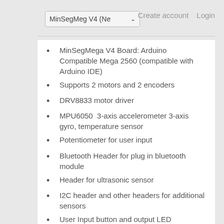MinSegMeg V4 (Ne...
Create account   Login
MinSegMega V4 Board: Arduino Compatible Mega 2560 (compatible with Arduino IDE)
Supports 2 motors and 2 encoders
DRV8833 motor driver
MPU6050  3-axis accelerometer 3-axis gyro, temperature sensor
Potentiometer for user input
Bluetooth Header for plug in bluetooth module
Header for ultrasonic sensor
I2C header and other headers for additional sensors
User Input button and output LED
NXT DC Motor with Encoder and wheels  OR optional 2 N20 microgear motors for the ability do drive and steer! (Note this style NXT motor is no longer available, new or like new refurbished NXT motors used based on availability)